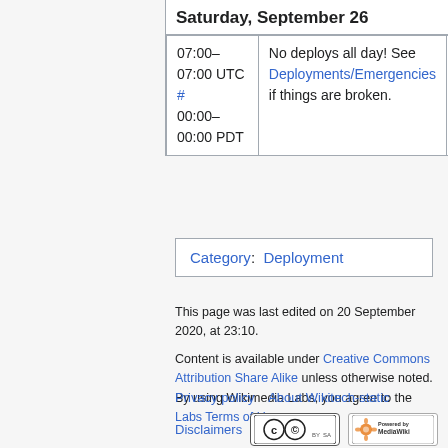|  | Saturday, September 26 |  |
| --- | --- | --- |
| 07:00–
07:00 UTC
#
00:00–
00:00 PDT | No deploys all day! See Deployments/Emergencies if things are broken. |  |
Category:  Deployment
This page was last edited on 20 September 2020, at 23:10.
Content is available under Creative Commons Attribution Share Alike unless otherwise noted. By using Wikimedia Labs, you agree to the Labs Terms of Use.
Privacy policy   About Wikitech-static
Disclaimers